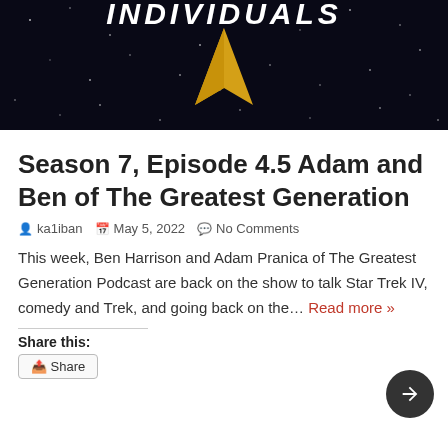[Figure (photo): Star Trek themed image with dark starfield background, gold chevron/delta shield logo, and white bold italic text 'INDIVIDUALS' at the top]
Season 7, Episode 4.5 Adam and Ben of The Greatest Generation
ka1iban   May 5, 2022   No Comments
This week, Ben Harrison and Adam Pranica of The Greatest Generation Podcast are back on the show to talk Star Trek IV, comedy and Trek, and going back on the... Read more »
Share this:
Share